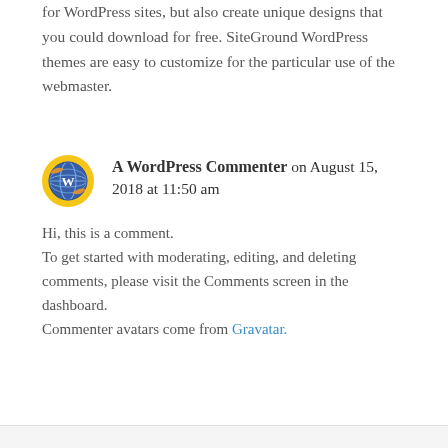for WordPress sites, but also create unique designs that you could download for free. SiteGround WordPress themes are easy to customize for the particular use of the webmaster.
A WordPress Commenter on August 15, 2018 at 11:50 am
Hi, this is a comment. To get started with moderating, editing, and deleting comments, please visit the Comments screen in the dashboard. Commenter avatars come from Gravatar.